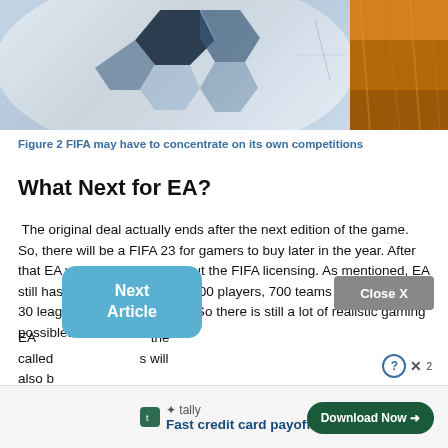[Figure (photo): Close-up photo of a soccer ball showing black and white hexagonal pattern, with a partial image of what appears to be orange/golden grass or field on the right side]
Figure 2 FIFA may have to concentrate on its own competitions
What Next for EA?
The original deal actually ends after the next edition of the game. So, there will be a FIFA 23 for gamers to buy later in the year. After that EA will be going on without the FIFA licensing. As mentioned, EA still has deals in place for 19,000 players, 700 teams and more than 30 leagues around the world. So there is still a lot of realistic gaming possible.
EA... called... s will also b...